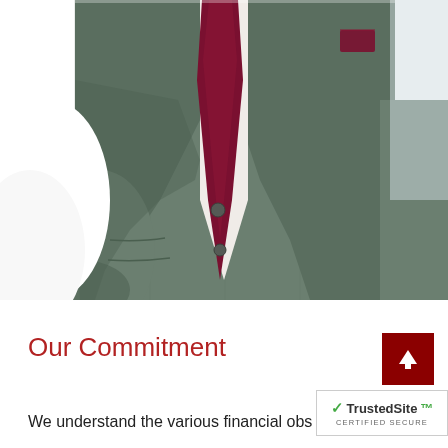[Figure (photo): A man wearing a grey-green suit jacket with a dark burgundy/maroon tie and matching pocket square. The photo shows the torso area — no head visible. The background is white.]
Our Commitment
[Figure (other): TrustedSite certified secure badge with green checkmark and text 'TrustedSite CERTIFIED SECURE']
We understand the various financial obs...